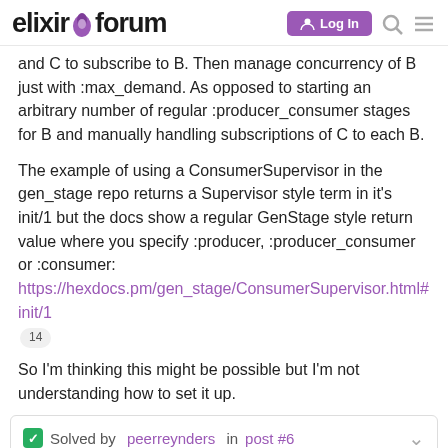elixir forum | Log In
and C to subscribe to B. Then manage concurrency of B just with :max_demand. As opposed to starting an arbitrary number of regular :producer_consumer stages for B and manually handling subscriptions of C to each B.
The example of using a ConsumerSupervisor in the gen_stage repo returns a Supervisor style term in it's init/1 but the docs show a regular GenStage style return value where you specify :producer, :producer_consumer or :consumer: https://hexdocs.pm/gen_stage/ConsumerSupervisor.html#init/1
So I'm thinking this might be possible but I'm not understanding how to set it up.
Solved by peerreynders in post #6
In a sense ConsumerSupervisor + Producer "is a Consumer Producer" where :min_demand/max_de back pressure regulation for the Produc